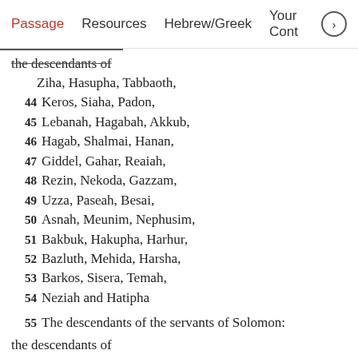Passage  Resources  Hebrew/Greek  Your Cont
the descendants of
Ziha, Hasupha, Tabbaoth,
44 Keros, Siaha, Padon,
45 Lebanah, Hagabah, Akkub,
46 Hagab, Shalmai, Hanan,
47 Giddel, Gahar, Reaiah,
48 Rezin, Nekoda, Gazzam,
49 Uzza, Paseah, Besai,
50 Asnah, Meunim, Nephusim,
51 Bakbuk, Hakupha, Harhur,
52 Bazluth, Mehida, Harsha,
53 Barkos, Sisera, Temah,
54 Neziah and Hatipha
55 The descendants of the servants of Solomon:
the descendants of